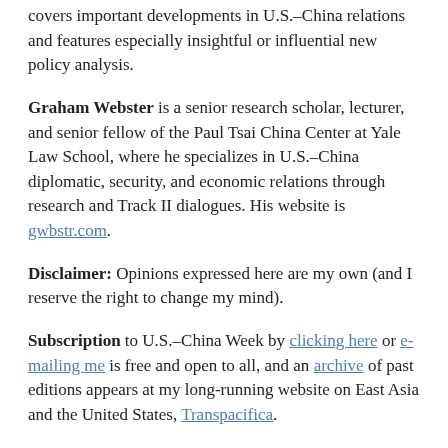covers important developments in U.S.–China relations and features especially insightful or influential new policy analysis.
Graham Webster is a senior research scholar, lecturer, and senior fellow of the Paul Tsai China Center at Yale Law School, where he specializes in U.S.–China diplomatic, security, and economic relations through research and Track II dialogues. His website is gwbstr.com.
Disclaimer: Opinions expressed here are my own (and I reserve the right to change my mind).
Subscription to U.S.–China Week by clicking here or e-mailing me is free and open to all, and an archive of past editions appears at my long-running website on East Asia and the United States, Transpacifica.
Contact: Follow me on Twitter at @gwbstr. Send e-mail to mail@gwbstr.com.